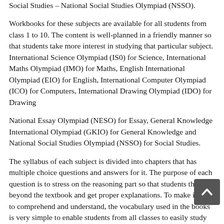Social Studies – National Social Studies Olympiad (NSSO).
Workbooks for these subjects are available for all students from class 1 to 10. The content is well-planned in a friendly manner so that students take more interest in studying that particular subject. International Science Olympiad (IS0) for Science, International Maths Olympiad (IMO) for Maths, English International Olympiad (EIO) for English, International Computer Olympiad (ICO) for Computers, International Drawing Olympiad (IDO) for Drawing
National Essay Olympiad (NESO) for Essay, General Knowledge International Olympiad (GKIO) for General Knowledge and National Social Studies Olympiad (NSSO) for Social Studies.
The syllabus of each subject is divided into chapters that has multiple choice questions and answers for it. The purpose of each question is to stress on the reasoning part so that students think beyond the textbook and get proper explanations. To make it easy to comprehend and understand, the vocabulary used in the books is very simple to enable students from all classes to easily study them with required guidance whenever needed. Since students need to be presented with something interesting to hold their attention span, multiple colourful illustrations and graphics are used in the workbooks format. You can get these workbooks easily at